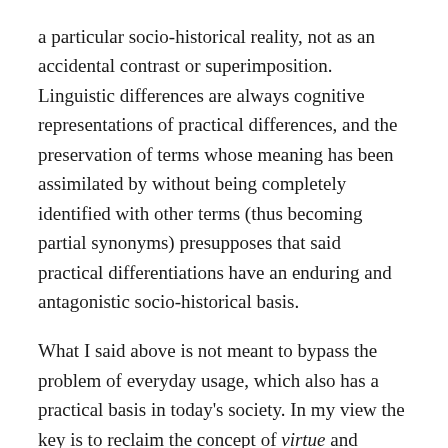a particular socio-historical reality, not as an accidental contrast or superimposition. Linguistic differences are always cognitive representations of practical differences, and the preservation of terms whose meaning has been assimilated by without being completely identified with other terms (thus becoming partial synonyms) presupposes that said practical differentiations have an enduring and antagonistic socio-historical basis.
What I said above is not meant to bypass the problem of everyday usage, which also has a practical basis in today's society. In my view the key is to reclaim the concept of virtue and reinvest it with its full meaning, in order to provide a foundation and complement for power as the instrumental capacity for action.